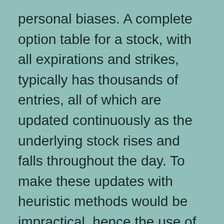personal biases. A complete option table for a stock, with all expirations and strikes, typically has thousands of entries, all of which are updated continuously as the underlying stock rises and falls throughout the day. To make these updates with heuristic methods would be impractical, hence the use of mathematical option pricing models to perform all these updates instantly.
But public policy, on the other hand, is a different matter. String Theory is likely to remain confined to laboratories, but economic policy can have ramifications for everyday life